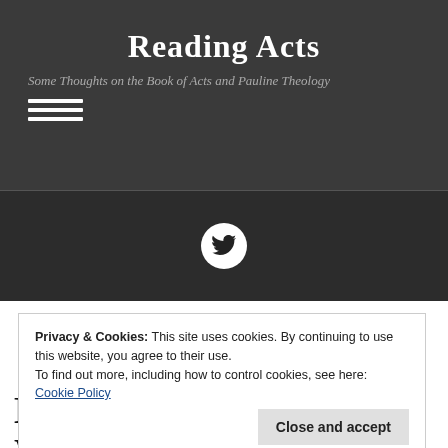Reading Acts
Some Thoughts on the Book of Acts and Pauline Theology
[Figure (other): Hamburger menu icon (three horizontal white lines)]
[Figure (other): Twitter bird icon inside a white circle on dark background]
Privacy & Cookies: This site uses cookies. By continuing to use this website, you agree to their use.
To find out more, including how to control cookies, see here: Cookie Policy
Close and accept
Book Review: Ben Witherington, III, Who God Is: Meditations on